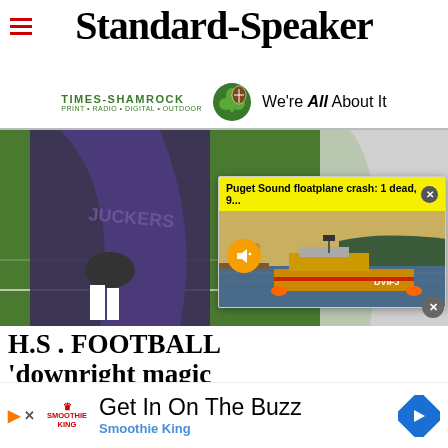Standard-Speaker
[Figure (logo): Times-Shamrock logo with shamrock graphic and tagline 'We're All About It']
[Figure (photo): High school football players on field, one in purple uniform and one in white]
Puget Sound floatplane crash: 1 dead, 9...
[Figure (photo): Coast guard boat on Puget Sound water with yellow sky, video notification overlay]
H.S. FOOTBALL 'downright magic
[Figure (infographic): Advertisement: Smoothie King - Get In On The Buzz with navigation arrow]
Get In On The Buzz
Smoothie King